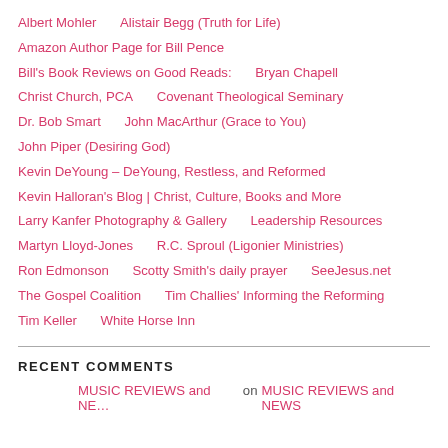Albert Mohler    Alistair Begg (Truth for Life)
Amazon Author Page for Bill Pence
Bill's Book Reviews on Good Reads:    Bryan Chapell
Christ Church, PCA    Covenant Theological Seminary
Dr. Bob Smart    John MacArthur (Grace to You)
John Piper (Desiring God)
Kevin DeYoung – DeYoung, Restless, and Reformed
Kevin Halloran's Blog | Christ, Culture, Books and More
Larry Kanfer Photography & Gallery    Leadership Resources
Martyn Lloyd-Jones    R.C. Sproul (Ligonier Ministries)
Ron Edmonson    Scotty Smith's daily prayer    SeeJesus.net
The Gospel Coalition    Tim Challies' Informing the Reforming
Tim Keller    White Horse Inn
RECENT COMMENTS
MUSIC REVIEWS and NE… on MUSIC REVIEWS and NEWS